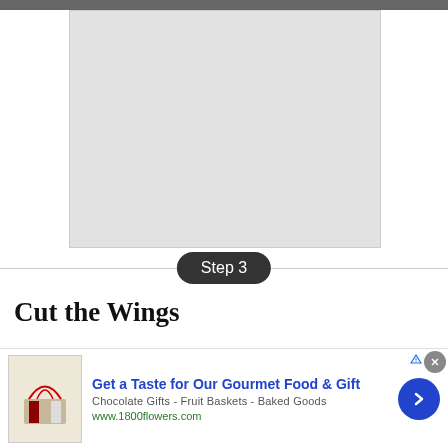[Figure (photo): Top portion of a photo visible at the top edge of the page]
[Figure (photo): Large gray placeholder image for step 3 content]
Step 3
Cut the Wings
[Figure (other): Advertisement banner: Get a Taste for Our Gourmet Food & Gift - 1800flowers.com]